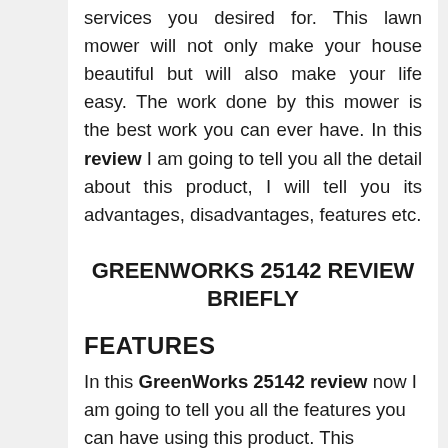services you desired for. This lawn mower will not only make your house beautiful but will also make your life easy. The work done by this mower is the best work you can ever have. In this review I am going to tell you all the detail about this product, I will tell you its advantages, disadvantages, features etc.
GREENWORKS 25142 REVIEW BRIEFLY
FEATURES
In this GreenWorks 25142 review now I am going to tell you all the features you can have using this product. This machine is easy to use and will cut through the tough grass of your lawn too. And will make sure that it is done —